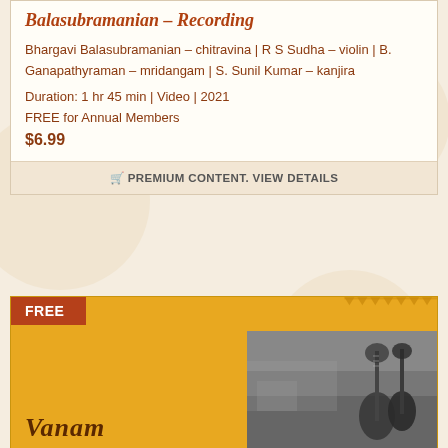Balasubramanian – Recording
Bhargavi Balasubramanian – chitravina | R S Sudha – violin | B. Ganapathyraman – mridangam | S. Sunil Kumar – kanjira
Duration: 1 hr 45 min | Video | 2021
FREE for Annual Members
$6.99
PREMIUM CONTENT. VIEW DETAILS
[Figure (photo): Second listing card with orange/yellow background, FREE badge in dark red, decorative border strip, and a black-and-white photo of musical instruments (veena/sitar) on the right side]